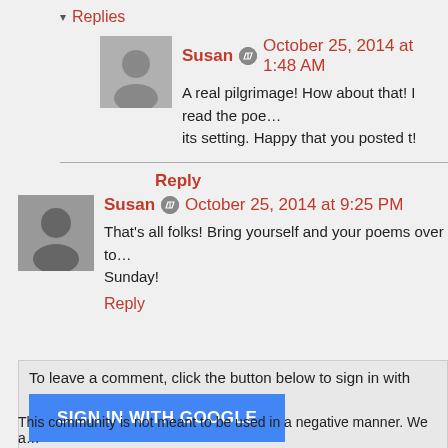▾ Replies
Susan • October 25, 2014 at 1:48 AM
A real pilgrimage! How about that! I read the poe… its setting. Happy that you posted t!
Reply
Susan • October 25, 2014 at 9:25 PM
That's all folks! Bring yourself and your poems over to… Sunday!
Reply
To leave a comment, click the button below to sign in with
SIGN IN WITH GOOGLE
This community is not meant to be used in a negative manner. We a…